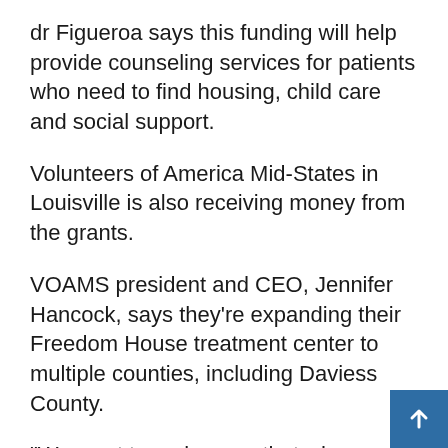dr Figueroa says this funding will help provide counseling services for patients who need to find housing, child care and social support.
Volunteers of America Mid-States in Louisville is also receiving money from the grants.
VOAMS president and CEO, Jennifer Hancock, says they’re expanding their Freedom House treatment center to multiple counties, including Daviess County.
“We want to make sure that where we locate Freedom House is welcomed by the community, that it’s in close proximity to other services that our clients will need access to and that has an opportunity to have both our